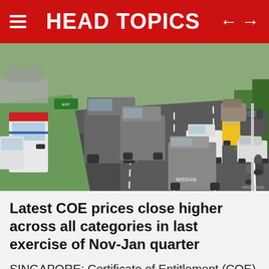HEAD TOPICS
[Figure (photo): Busy multi-lane expressway in Singapore with trucks, buses, taxis, cars, and motorcycles in heavy traffic. Green shrubs line the median and roadside. Photo watermark: mediacorp]
Latest COE prices close higher across all categories in last exercise of Nov-Jan quarter
SINGAPORE: Certificate of Entitlement (COE) premiums closed higher across all categories in the latest bidding exercise